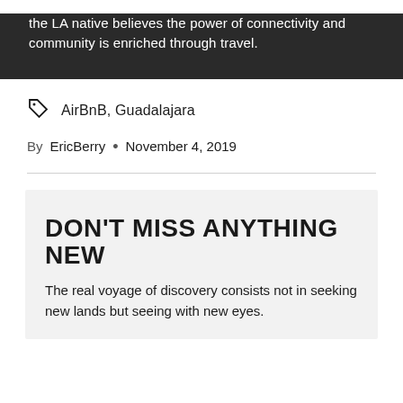the LA native believes the power of connectivity and community is enriched through travel.
AirBnB, Guadalajara
By EricBerry • November 4, 2019
DON'T MISS ANYTHING NEW
The real voyage of discovery consists not in seeking new lands but seeing with new eyes.